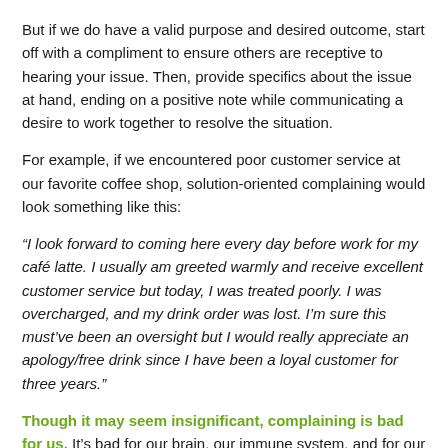But if we do have a valid purpose and desired outcome, start off with a compliment to ensure others are receptive to hearing your issue. Then, provide specifics about the issue at hand, ending on a positive note while communicating a desire to work together to resolve the situation.
For example, if we encountered poor customer service at our favorite coffee shop, solution-oriented complaining would look something like this:
“I look forward to coming here every day before work for my café latte. I usually am greeted warmly and receive excellent customer service but today, I was treated poorly. I was overcharged, and my drink order was lost. I’m sure this must’ve been an oversight but I would really appreciate an apology/free drink since I have been a loyal customer for three years.”
Though it may seem insignificant, complaining is bad for us. It’s bad for our brain, our immune system, and for our relationships. Repave those neutral bridges by redirecting negative thoughts to solution-oriented complaining and by cultivating an attitude of gratitude.